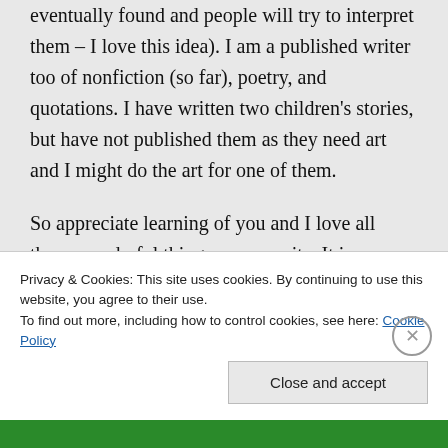eventually found and people will try to interpret them – I love this idea). I am a published writer too of nonfiction (so far), poetry, and quotations. I have written two children's stories, but have not published them as they need art and I might do the art for one of them.

So appreciate learning of you and I love all these wonderful things on your site. It is beautiful and definitely inspiring. Thank you kindly.
Privacy & Cookies: This site uses cookies. By continuing to use this website, you agree to their use.
To find out more, including how to control cookies, see here: Cookie Policy